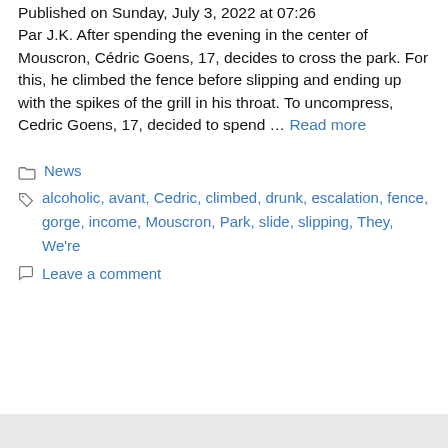Published on Sunday, July 3, 2022 at 07:26 Par J.K. After spending the evening in the center of Mouscron, Cédric Goens, 17, decides to cross the park. For this, he climbed the fence before slipping and ending up with the spikes of the grill in his throat. To uncompress, Cedric Goens, 17, decided to spend … Read more
Categories: News
Tags: alcoholic, avant, Cedric, climbed, drunk, escalation, fence, gorge, income, Mouscron, Park, slide, slipping, They, We're
Leave a comment